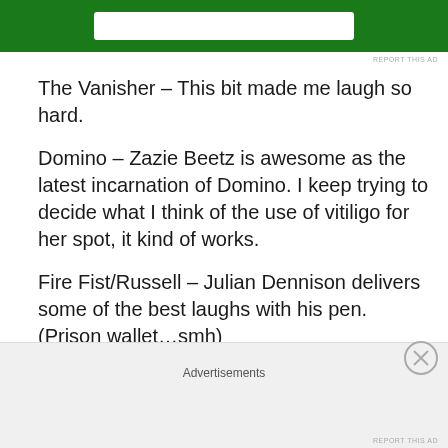[Figure (other): Green advertisement banner at top of page with white button/bar in center]
The Vanisher – This bit made me laugh so hard.
Domino – Zazie Beetz is awesome as the latest incarnation of Domino. I keep trying to decide what I think of the use of vitiligo for her spot, it kind of works.
Fire Fist/Russell – Julian Dennison delivers some of the best laughs with his pen. (Prison wallet…smh)
The Ugly
Juggernaught's helmet looked goofy. What is it about superhero helmets that are so hard to replicate – I'm
Advertisements